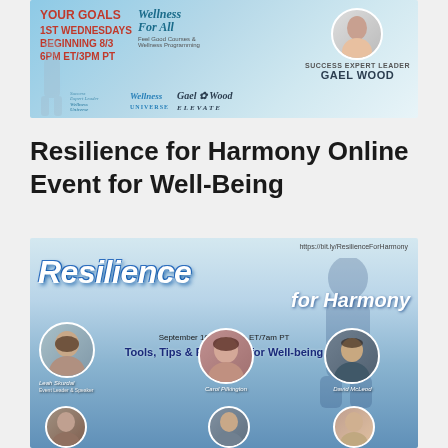[Figure (infographic): Wellness Universe banner featuring Gael Wood as Success Expert Leader. Shows '1st Wednesdays Beginning 8/3 6PM ET/3PM PT', 'Wellness For All', logos for Wellness Universe and Gael Wood Elevate.]
Resilience for Harmony Online Event for Well-Being
[Figure (infographic): Resilience for Harmony event banner. URL: https://bit.ly/ResilienceForHarmony. Title: Resilience for Harmony. Date: September 10th at 10am ET/7am PT. Subtitle: Tools, Tips & Exercises for Well-being. Speakers shown: Leah Skurdal (Event Leader & Speaker), Carol Pilkington, David McLeod, and others.]